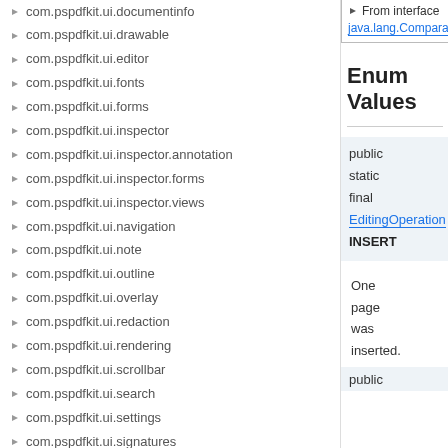com.pspdfkit.ui.documentinfo
com.pspdfkit.ui.drawable
com.pspdfkit.ui.editor
com.pspdfkit.ui.fonts
com.pspdfkit.ui.forms
com.pspdfkit.ui.inspector
com.pspdfkit.ui.inspector.annotation
com.pspdfkit.ui.inspector.forms
com.pspdfkit.ui.inspector.views
com.pspdfkit.ui.navigation
com.pspdfkit.ui.note
com.pspdfkit.ui.outline
com.pspdfkit.ui.overlay
com.pspdfkit.ui.redaction
com.pspdfkit.ui.rendering
com.pspdfkit.ui.scrollbar
com.pspdfkit.ui.search
com.pspdfkit.ui.settings
com.pspdfkit.ui.signatures
com.pspdfkit.ui.special_mode.controller
Enum Values
public
static
final
EditingOperation
INSERT
One page was inserted.
public